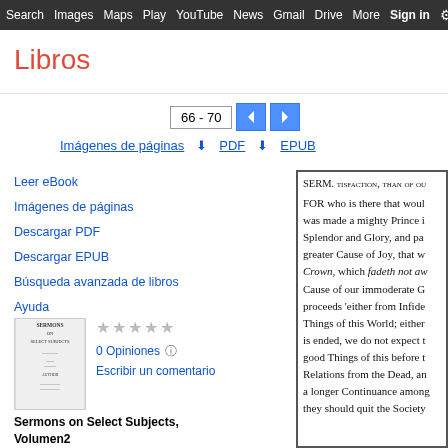Search  Images  Maps  Play  YouTube  News  Gmail  Drive  More  Sign in
Libros
66 - 70
Imágenes de páginas   ⬇ PDF   ⬇ EPUB
Leer eBook
Imágenes de páginas
Descargar PDF
Descargar EPUB
Búsqueda avanzada de libros
Ayuda
Mi biblioteca
[Figure (illustration): Thumbnail of book cover for Sermons on Select Subjects, Volumen 2]
0 Opiniones
Escribir un comentario
SERM. tisfaction, than of ou FOR who is there that woul was made a mighty Prince i Splendor and Glory, and pa greater Cause of Joy, that w Crown, which fadeth not aw Cause of our immoderate G proceeds 'either from Infide Things of this World; either is ended, we do not expect t good Things of this before t Relations from the Dead, an a longer Continuance among they should quit the Society
Sermons on Select Subjects, Volumen2